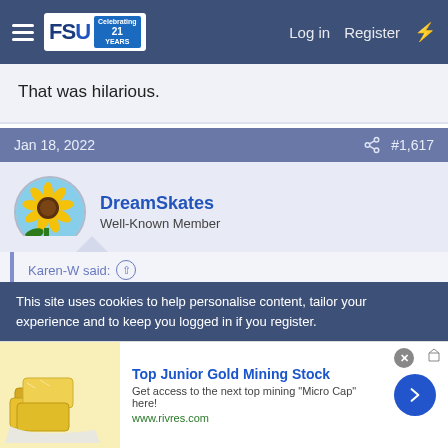FSU forum navigation bar with Log in, Register links
That was hilarious.
Jan 18, 2022   #1,617
DreamSkates
Well-Known Member
Karen-W said: ↑
It's not about the scores, it's about the correct calling, across the board, of URs and correct edges. If the tech panel is generous then ALL scores should rise accordingly. If not, then all scores should fall
This site uses cookies to help personalise content, tailor your experience and to keep you logged in if you register.
[Figure (screenshot): Advertisement: Top Junior Gold Mining Stock - Get access to the next top mining 'Micro Cap' here! www.rivres.com]